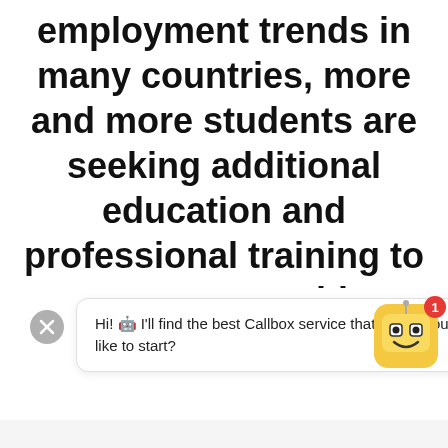employment trends in many countries, more and more students are seeking additional education and professional training to ensure competitive advantage.
[Figure (screenshot): Chat widget popup showing a robot assistant icon with a notification badge of 1, a close button, and a speech bubble saying: Hi! I'll find the best Callbox service that meets your needs. Where would you like to start?]